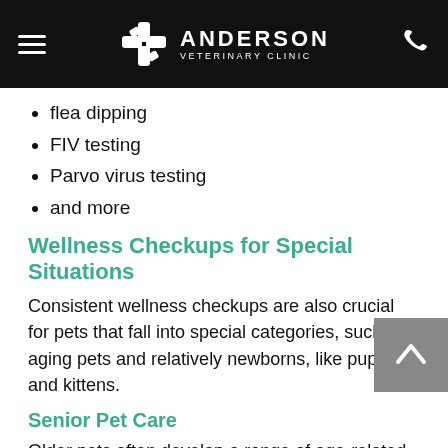ANDERSON VETERINARY CLINIC
flea dipping
FIV testing
Parvo virus testing
and more
Wellness Checkups for Special Situations
Consistent wellness checkups are also crucial for pets that fall into special categories, such as aging pets and relatively newborns, like puppies and kittens.
Senior Pet Care
Older pets often develop a range of age-related issues, such as loss of appetite, mobility challenges and failing eyesight. Veterinary wellness checkups